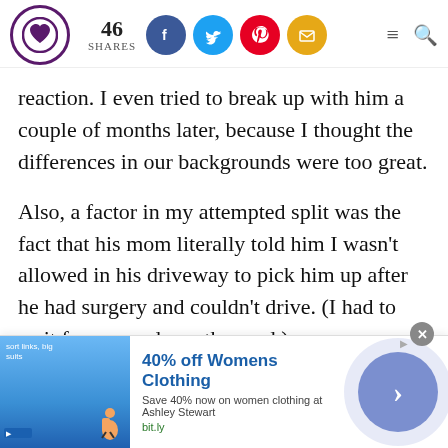46 SHARES [social icons: Facebook, Twitter, Pinterest, Email] [hamburger menu] [search]
reaction. I even tried to break up with him a couple of months later, because I thought the differences in our backgrounds were too great.
Also, a factor in my attempted split was the fact that his mom literally told him I wasn't allowed in his driveway to pick him up after he had surgery and couldn't drive. (I had to wait for a way down the road.)
[Figure (screenshot): Advertisement banner: '40% off Womens Clothing - Save 40% now on women clothing at Ashley Stewart - bit.ly' with image of clothing and a navigation arrow button]